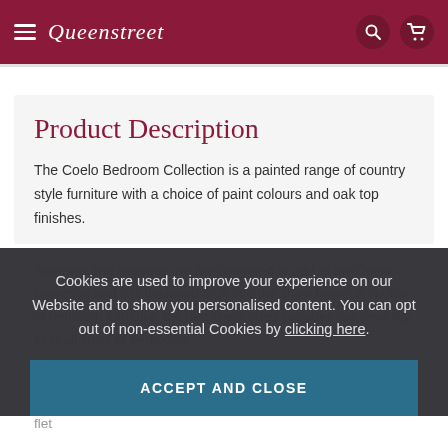Queenstreet
Product Description
The Coelo Bedroom Collection is a painted range of country style furniture with a choice of paint colours and oak top finishes.
Stunning and timeless, we are delighted to add to the Coelo collection and it is designed to fit into the show home. A choice of bedroom furniture, the bed chest sizes provides the flexibility to fit all sizes of bedrooms.
The b... cons...all crafted from solid European oak. The smooth flet
Cookies are used to improve your experience on our Website and to show you personalised content. You can opt out of non-essential Cookies by clicking here.
ACCEPT AND CLOSE